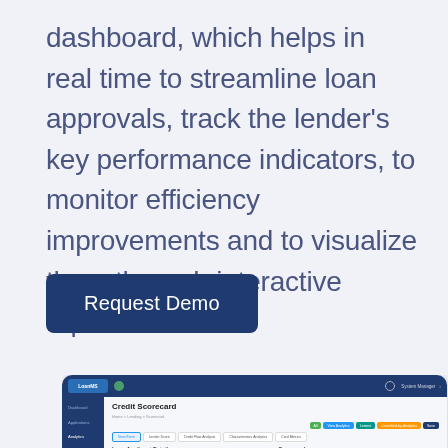dashboard, which helps in real time to streamline loan approvals, track the lender's key performance indicators, to monitor efficiency improvements and to visualize them through interactive reports.
[Figure (screenshot): Button labeled 'Request Demo' with dark navy blue background and rounded corners]
[Figure (screenshot): Dashboard screenshot showing a Credit Scorecard interface with sidebar navigation, loan applicant details section, and scorecard section with tabbed navigation]